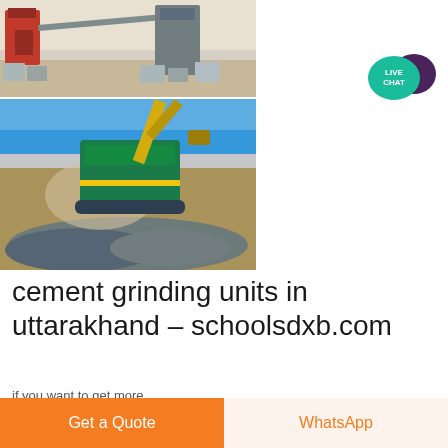[Figure (photo): Two stacked photos of industrial stone/cement crushing and grinding machinery. Top photo shows red machinery with concrete blocks and sandy terrain. Bottom photo shows a mobile rock crusher/grinder with dust and a pile of crushed aggregate.]
[Figure (illustration): Live Chat button icon — teal speech bubble with 'LIVE CHAT' text and a dark purple speech bubble overlapping.]
cement grinding units in uttarakhand - schoolsdxb.com
if you want to get more...
Get a Quote
WhatsApp